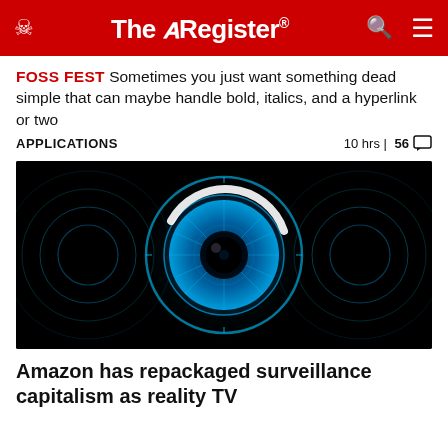The Register
FOSS FEST Sometimes you just want something dead simple that can maybe handle bold, italics, and a hyperlink or two
APPLICATIONS   10 hrs | 56 comments
[Figure (illustration): Glowing blue digital eye with circular rings and iris, surveillance-themed graphic on black background]
Amazon has repackaged surveillance capitalism as reality TV